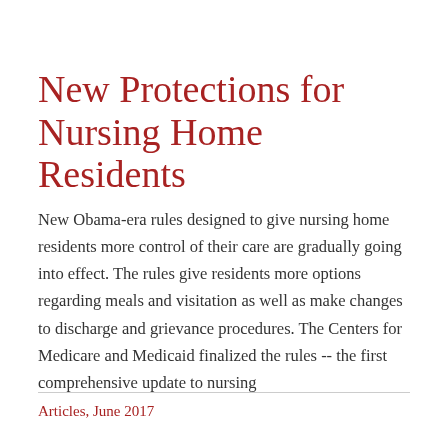New Protections for Nursing Home Residents
New Obama-era rules designed to give nursing home residents more control of their care are gradually going into effect. The rules give residents more options regarding meals and visitation as well as make changes to discharge and grievance procedures. The Centers for Medicare and Medicaid finalized the rules -- the first comprehensive update to nursing
Articles, June 2017